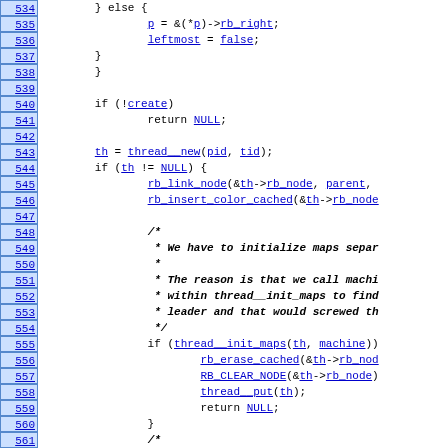[Figure (screenshot): Source code listing showing lines 534-564 of a Linux kernel C file implementing rbtree thread management. Line numbers appear in blue boxes on the left. Code includes rb_right assignment, leftmost=false, thread_new call, rb_link_node, rb_insert_color_cached, thread__init_maps, rb_erase_cached, RB_CLEAR_NODE, thread__put, and comment blocks about initializing maps separately and rbtree insertion.]